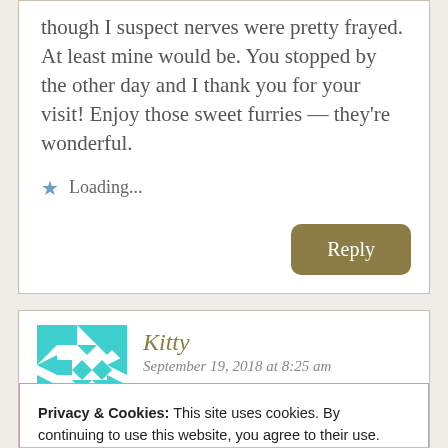though I suspect nerves were pretty frayed. At least mine would be. You stopped by the other day and I thank you for your visit! Enjoy those sweet furries — they're wonderful.
Loading...
Reply
Kitty
September 19, 2018 at 8:25 am
Privacy & Cookies: This site uses cookies. By continuing to use this website, you agree to their use.
To find out more, including how to control cookies, see here:
Cookie Policy
Close and accept
hurricane. You puppy photos sure put a